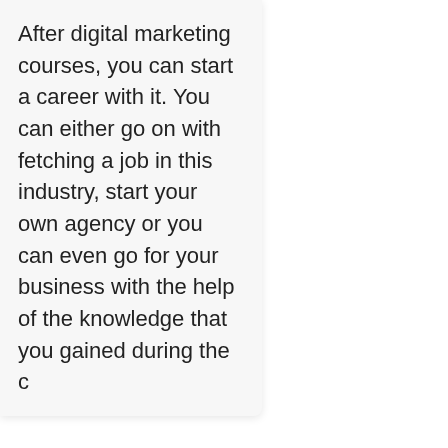After digital marketing courses, you can start a career with it. You can either go on with fetching a job in this industry, start your own agency or you can even go for your business with the help of the knowledge that you gained during the c...
[Figure (screenshot): A popup overlay box with dashed orange border on a light blue background, containing a heading 'Get Job :' with a vertical bar accent, and a numbered list: 1. Download Free Resume Templates, 2. Work From Home Jobs, 3. BEST INTERVIEW TIPS. A close (×) button is in the top right.]
Conc... & Ins... Digita...